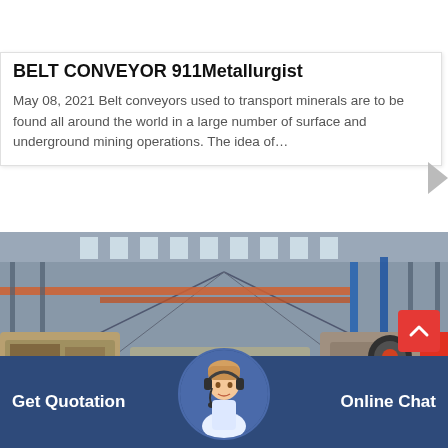[Figure (photo): Top portion of a belt conveyor or industrial equipment photo, teal/green background tones]
BELT CONVEYOR 911Metallurgist
May 08, 2021 Belt conveyors used to transport minerals are to be found all around the world in a large number of surface and underground mining operations. The idea of…
[Figure (photo): Interior of a large industrial factory/warehouse with overhead cranes, red/orange/blue structural beams, mining equipment including jaw crushers visible on the floor]
Get Quotation
Online Chat